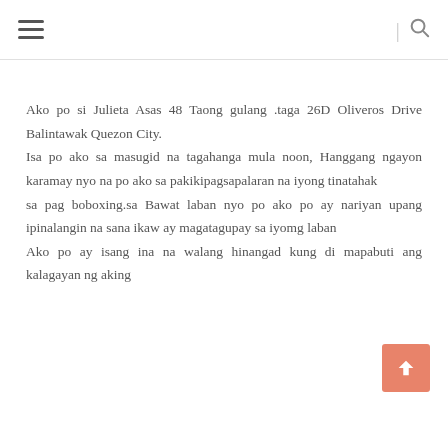≡  | 🔍
Ako po si Julieta Asas 48 Taong gulang .taga 26D Oliveros Drive Balintawak Quezon City.
Isa po ako sa masugid na tagahanga mula noon, Hanggang ngayon karamay nyo na po ako sa pakikipagsapalaran na iyong tinatahak
sa pag boboxing.sa Bawat laban nyo po ako po ay nariyan upang ipinalangin na sana ikaw ay magatagupay sa iyomg laban
Ako po ay isang ina na walang hinangad kung di mapabuti ang kalagayan ng aking